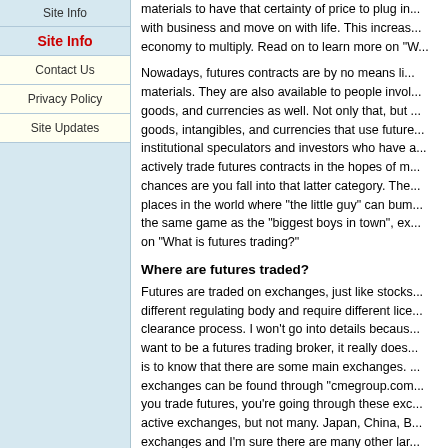Site Info
Contact Us
Privacy Policy
Site Updates
materials to have that certainty of price to plug in... with business and move on with life. This increas... economy to multiply. Read on to learn more on "W...
Nowadays, futures contracts are by no means li... materials. They are also available to people invol... goods, and currencies as well. Not only that, but ... goods, intangibles, and currencies that use future... institutional speculators and investors who have a... actively trade futures contracts in the hopes of m... chances are you fall into that latter category. The... places in the world where "the little guy" can bum... the same game as the "biggest boys in town", ex... on "What is futures trading?"
Where are futures traded?
Futures are traded on exchanges, just like stocks... different regulating body and require different lice... clearance process. I won't go into details becaus... want to be a futures trading broker, it really does... is to know that there are some main exchanges. ... exchanges can be found through "cmegroup.com... you trade futures, you're going through these exc... active exchanges, but not many. Japan, China, B... exchanges and I'm sure there are many other lar... around the world. The cmegroup.com and theice... learn more on "What is futures trading?"